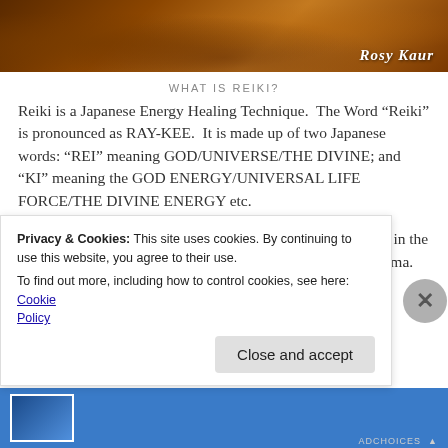[Figure (photo): Dark orange/brown landscape header image with dried grasses and vegetation, with 'Rosy Kaur' watermark in cursive script at bottom right]
WHAT IS REIKI?
Reiki is a Japanese Energy Healing Technique.  The Word “Reiki” is pronounced as RAY-KEE.  It is made up of two Japanese words: “REI” meaning GOD/UNIVERSE/THE DIVINE; and “KI” meaning the GOD ENERGY/UNIVERSAL LIFE FORCE/THE DIVINE ENERGY etc.
It is a healing system first discovered by DR USUI of Japan in the early 1920’s, in a 21-Day Meditation on Mount Kurama-Yama.  He later devised a methodical system of Teaching &
Privacy & Cookies: This site uses cookies. By continuing to use this website, you agree to their use.
To find out more, including how to control cookies, see here: Cookie Policy
Close and accept